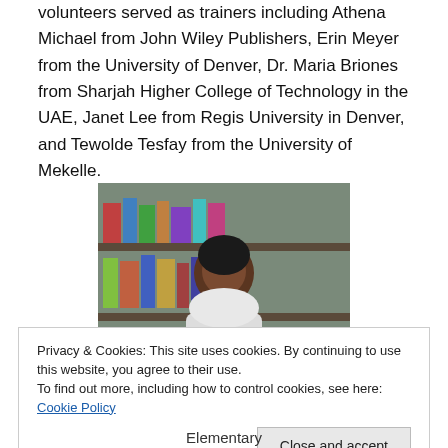volunteers served as trainers including Athena Michael from John Wiley Publishers, Erin Meyer from the University of Denver, Dr. Maria Briones from Sharjah Higher College of Technology in the UAE, Janet Lee from Regis University in Denver, and Tewolde Tesfay from the University of Mekelle.
[Figure (photo): A woman standing in a library holding a children's book, smiling at the camera.]
Privacy & Cookies: This site uses cookies. By continuing to use this website, you agree to their use.
To find out more, including how to control cookies, see here: Cookie Policy
Elementary